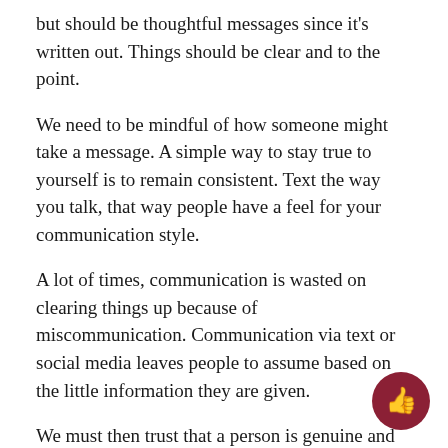but should be thoughtful messages since it's written out. Things should be clear and to the point.
We need to be mindful of how someone might take a message. A simple way to stay true to yourself is to remain consistent. Text the way you talk, that way people have a feel for your communication style.
A lot of times, communication is wasted on clearing things up because of miscommunication. Communication via text or social media leaves people to assume based on the little information they are given.
We must then trust that a person is genuine and honest based on the phrases, abbreviations or emoticons they are using. Communication shouldn't be taken for granted. It should be used with true purpose. We can share so much now thanks to social media, but we need to be mindful and honest with what we're projecting.